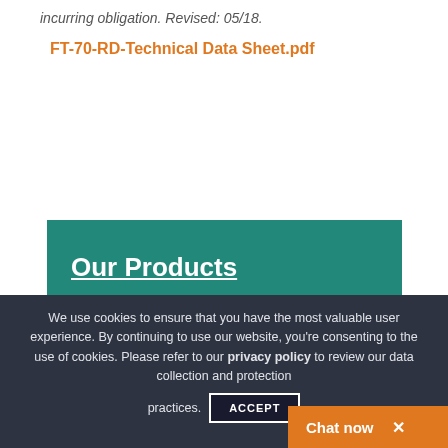incurring obligation. Revised: 05/18.
FT-70-RD-Technical Data Sheet.pdf
Our Products
We use cookies to ensure that you have the most valuable user experience. By continuing to use our website, you're consenting to the use of cookies. Please refer to our privacy policy to review our data collection and protection practices.
ACCEPT
Chat now